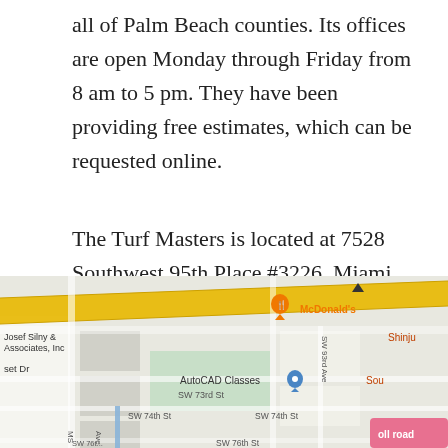all of Palm Beach counties. Its offices are open Monday through Friday from 8 am to 5 pm. They have been providing free estimates, which can be requested online.
The Turf Masters is located at 7528 Southwest 95th Place #3226, Miami, Florida, 33173, United States. For more information, clients can get in touch with one of the company's representatives via phone at (305) 384-1520. Alternatively, they can visit the company's website to learn more or schedule an online appointment.
[Figure (map): Google Maps screenshot showing the area around SW 73rd St and SW 74th St in Miami, with landmarks including McDonald's, AutoCAD Classes, Josef Silny & Associates Inc, and streets labeled SW 73rd St, SW 74th St, SW 76th St, SW 93rd Ave, and Sunset Dr. A yellow diagonal road runs across the top portion of the map.]